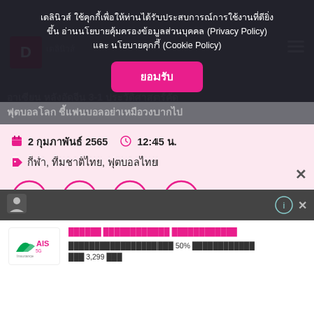เดลินิวส์ ใช้คุกกี้เพื่อให้ท่านได้รับประสบการณ์การใช้งานที่ดียิ่งขึ้น อ่านนโยบายคุ้มครองข้อมูลส่วนบุคคล (Privacy Policy) และ นโยบายคุกกี้ (Cookie Policy)
ยอมรับ
อาเซียน หลังอัดจีน 3-1 ประวัติศาสตร์คัด ฟุตบอลโลก ชี้แฟนบอลอย่าเหมือวงบากไป
2 กุมภาพันธ์ 2565   12:45 น.
กีฬา, ทีมชาติไทย, ฟุตบอลไทย
[Figure (screenshot): Social share buttons: link (count 2), Facebook (count 0), Twitter (count 0), LINE (count 0)]
[Figure (screenshot): Advertisement banner with AIS 5G Insurance Service logo and Thai promotional text about 50% discount, priced at 3,299 baht]